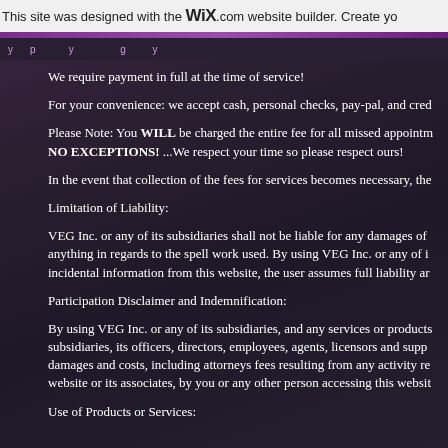This site was designed with the WIX.com website builder. Create yo
We require payment in full at the time of service!
For your convenience: we accept cash, personal checks, pay-pal, and cred
Please Note: You WILL be charged the entire fee for all missed appointm NO EXCEPTIONS! ...We respect your time so please respect ours!
In the event that collection of the fees for services becomes necessary, the
Limitation of Liability:
VEG Inc. or any of its subsidiaries shall not be liable for any damages of anything in regards to the spell work used. By using VEG Inc. or any of i incidental information from this website, the user assumes full liability ar
Participation Disclaimer and Indemnification:
By using VEG Inc. or any of its subsidiaries, and any services or products subsidiaries, its officers, directors, employees, agents, licensors and supp damages and costs, including attorneys fees resulting from any activity re website or its associates, by you or any other person accessing this websit
Use of Products or Services: